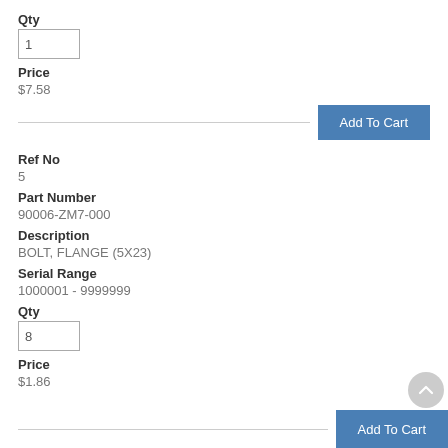Qty
1
Price
$7.58
Add To Cart
Ref No
5
Part Number
90006-ZM7-000
Description
BOLT, FLANGE (5X23)
Serial Range
1000001 - 9999999
Qty
8
Price
$1.86
Add To Cart